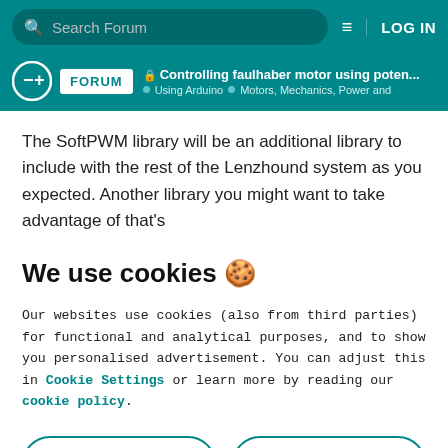Search Forum | LOG IN
Controlling faulhaber motor using poten... | Using Arduino | Motors, Mechanics, Power and
The SoftPWM library will be an additional library to include with the rest of the Lenzhound system as you expected. Another library you might want to take advantage of that's
We use cookies 🍪
Our websites use cookies (also from third parties) for functional and analytical purposes, and to show you personalised advertisement. You can adjust this in Cookie Settings or learn more by reading our cookie policy.
ONLY REQUIRED
ACCEPT ALL